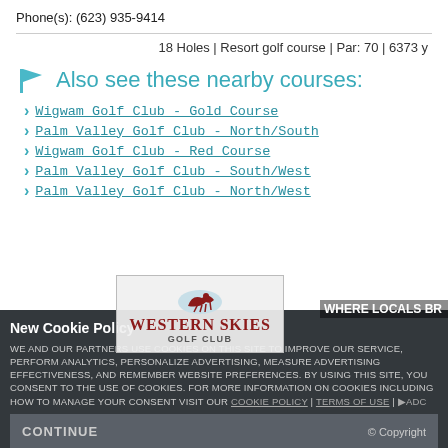Phone(s): (623) 935-9414
18 Holes | Resort golf course | Par: 70 | 6373 y
Also see these nearby courses:
Wigwam Golf Club - Gold Course
Palm Valley Golf Club - North/South
Wigwam Golf Club - Red Course
Palm Valley Golf Club - South/West
Palm Valley Golf Club - North/West
New Cookie Policy
WE AND OUR PARTNERS USE COOKIES ON THIS SITE TO IMPROVE OUR SERVICE, PERFORM ANALYTICS, PERSONALIZE ADVERTISING, MEASURE ADVERTISING EFFECTIVENESS, AND REMEMBER WEBSITE PREFERENCES. BY USING THIS SITE, YOU CONSENT TO THE USE OF COOKIES. FOR MORE INFORMATION ON COOKIES INCLUDING HOW TO MANAGE YOUR CONSENT VISIT OUR COOKIE POLICY | Terms of Use | AdC
CONTINUE
© Copyright
[Figure (logo): Western Skies Golf Club logo with running horse and text]
WHERE LOCALS BR